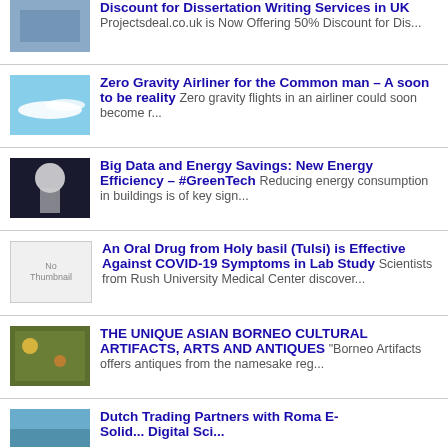Discount for Dissertation Writing Services in UK - Projectsdeal.co.uk is Now Offering 50% Discount for Dis...
Zero Gravity Airliner for the Common man – A soon to be reality - Zero gravity flights in an airliner could soon become r...
Big Data and Energy Savings: New Energy Efficiency – #GreenTech - Reducing energy consumption in buildings is of key sign...
An Oral Drug from Holy basil (Tulsi) is Effective Against COVID-19 Symptoms in Lab Study - Scientists from Rush University Medical Center discover...
THE UNIQUE ASIAN BORNEO CULTURAL ARTIFACTS, ARTS AND ANTIQUES - "Borneo Artifacts offers antiques from the namesake reg...
Dutch Trading Partners with Roma E-...